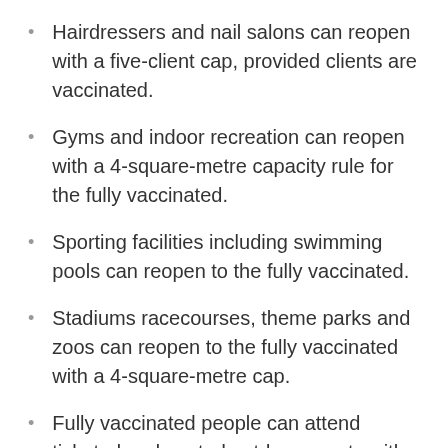Hairdressers and nail salons can reopen with a five-client cap, provided clients are vaccinated.
Gyms and indoor recreation can reopen with a 4-square-metre capacity rule for the fully vaccinated.
Sporting facilities including swimming pools can reopen to the fully vaccinated.
Stadiums racecourses, theme parks and zoos can reopen to the fully vaccinated with a 4-square-metre cap.
Fully vaccinated people can attend ticketed and seated outdoor events with a 500-person cap.
Cinemas, theatres, music halls, museums and